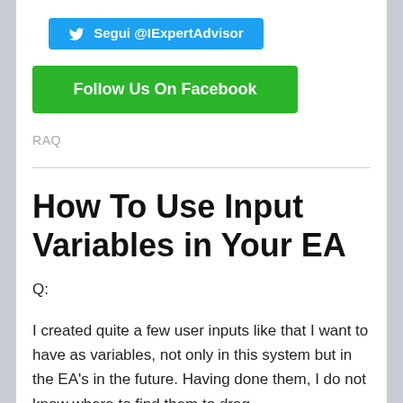[Figure (other): Twitter follow button with bird icon, text: Segui @IExpertAdvisor]
[Figure (other): Green Facebook follow button: Follow Us On Facebook]
RAQ
How To Use Input Variables in Your EA
Q:
I created quite a few user inputs like that I want to have as variables, not only in this system but in the EA's in the future. Having done them, I do not know where to find them to drag